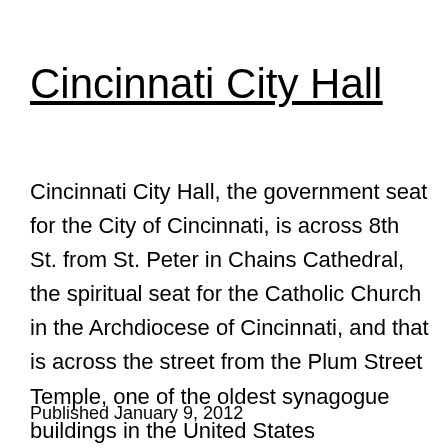Cincinnati City Hall
Cincinnati City Hall, the government seat for the City of Cincinnati, is across 8th St. from St. Peter in Chains Cathedral, the spiritual seat for the Catholic Church in the Archdiocese of Cincinnati, and that is across the street from the Plum Street Temple, one of the oldest synagogue buildings in the United States
Published January 9, 2012